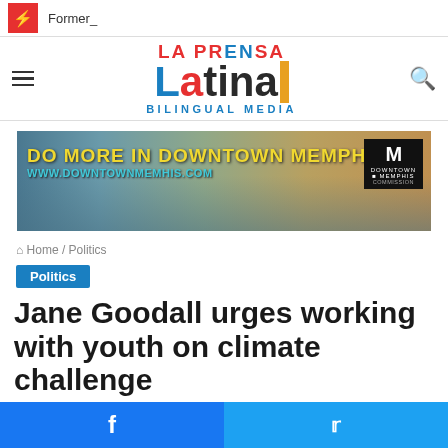Former_
[Figure (logo): La Prensa Latina Bilingual Media logo with hamburger menu and search icon]
[Figure (photo): Do More in Downtown Memphis! www.downtownmemphis.com - Downtown Memphis Commission advertisement banner with city bridge and skyline]
Home / Politics
Politics
Jane Goodall urges working with youth on climate challenge